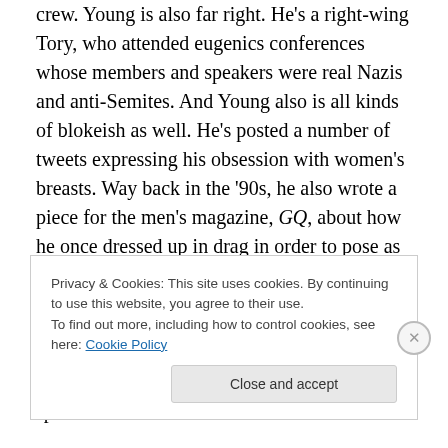crew. Young is also far right. He's a right-wing Tory, who attended eugenics conferences whose members and speakers were real Nazis and anti-Semites. And Young also is all kinds of blokeish as well. He's posted a number of tweets expressing his obsession with women's breasts. Way back in the '90s, he also wrote a piece for the men's magazine, GQ, about how he once dressed up in drag in order to pose as a woman, because he wanted to snog lesbians in gay clubs.

And it's not just the people in the Free Speech Union, who have no real interest in free speech. Neither does
Privacy & Cookies: This site uses cookies. By continuing to use this website, you agree to their use.
To find out more, including how to control cookies, see here: Cookie Policy